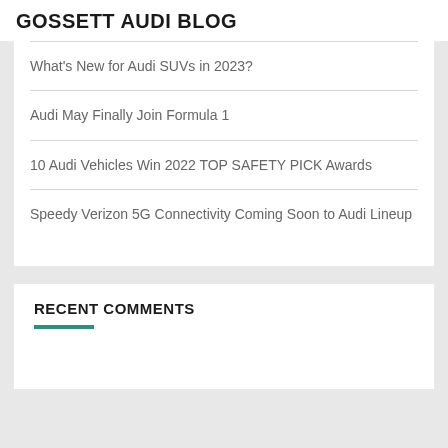GOSSETT AUDI BLOG
What's New for Audi SUVs in 2023?
Audi May Finally Join Formula 1
10 Audi Vehicles Win 2022 TOP SAFETY PICK Awards
Speedy Verizon 5G Connectivity Coming Soon to Audi Lineup
RECENT COMMENTS